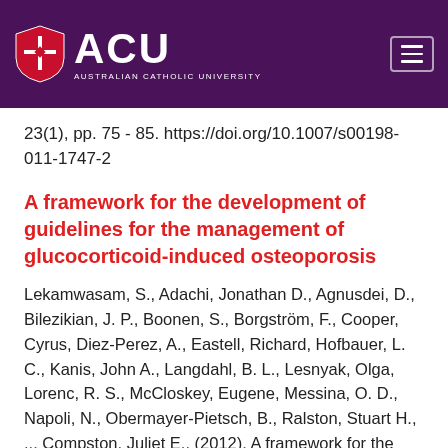[Figure (logo): ACU (Australian Catholic University) logo with shield icon on purple/dark magenta background, with hamburger menu icon on the right]
23(1), pp. 75 - 85. https://doi.org/10.1007/s00198-011-1747-2
A framework for the development of guidelines for the management of glucocorticoid-induced osteoporosis
Lekamwasam, S., Adachi, Jonathan D., Agnusdei, D., Bilezikian, J. P., Boonen, S., Borgström, F., Cooper, Cyrus, Diez-Perez, A., Eastell, Richard, Hofbauer, L. C., Kanis, John A., Langdahl, B. L., Lesnyak, Olga, Lorenc, R. S., McCloskey, Eugene, Messina, O. D., Napoli, N., Obermayer-Pietsch, B., Ralston, Stuart H., ... Compston, Juliet E.. (2012). A framework for the development of guidelines for the